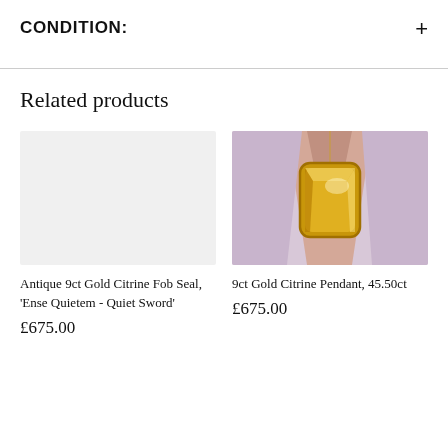CONDITION:
Related products
[Figure (photo): Placeholder grey box for Antique 9ct Gold Citrine Fob Seal product image]
Antique 9ct Gold Citrine Fob Seal, 'Ense Quietem - Quiet Sword'
£675.00
[Figure (photo): Photo of a 9ct Gold Citrine Pendant worn on a neck with lavender background, showing a large yellow-gold rectangular gemstone pendant on a gold chain]
9ct Gold Citrine Pendant, 45.50ct
£675.00